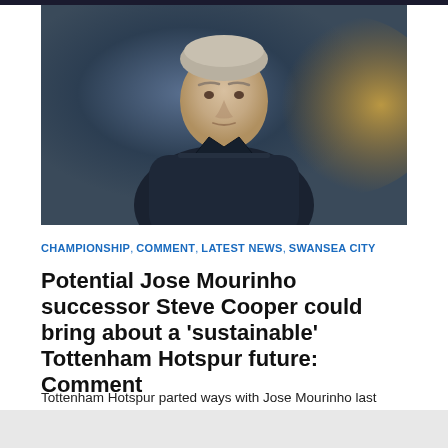[Figure (photo): Close-up photo of Steve Cooper, a middle-aged man with short grey-blonde hair, wearing a dark vest/gilet, against a blurred blue and gold background.]
CHAMPIONSHIP, COMMENT, LATEST NEWS, SWANSEA CITY
Potential Jose Mourinho successor Steve Cooper could bring about a 'sustainable' Tottenham Hotspur future: Comment
Tottenham Hotspur parted ways with Jose Mourinho last night – the Portuguese manager lasted 17-months in the job....